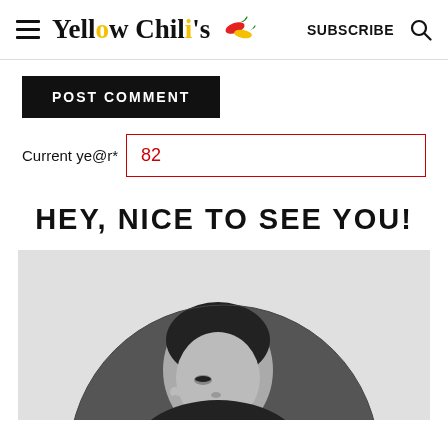Yellow Chili's  SUBSCRIBE
POST COMMENT
Current ye@r*  82
HEY, NICE TO SEE YOU!
[Figure (photo): Black and white circular portrait photo of a woman looking down, set against a light grey background]